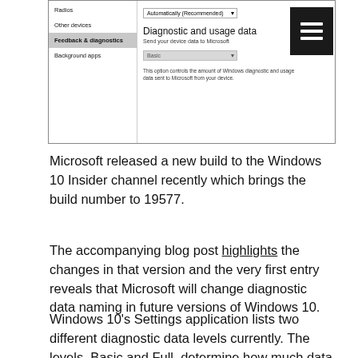[Figure (screenshot): Windows 10 Settings screenshot showing Privacy settings panel. Left sidebar shows: Radios, Other devices, Feedback & diagnostics (selected/highlighted), Background apps. Right panel shows a dropdown set to 'Automatically (Recommended)', then 'Diagnostic and usage data' heading, 'Send your device data to Microsoft' label, a grayed dropdown set to 'Basic', and a note: 'This option controls the amount of Windows diagnostic and usage data sent to Microsoft from your device.' A dark hamburger menu icon appears in top right.]
Microsoft released a new build to the Windows 10 Insider channel recently which brings the build number to 19577.
The accompanying blog post highlights the changes in that version and the very first entry reveals that Microsoft will change diagnostic data naming in future versions of Windows 10.
Windows 10's Settings application lists two different diagnostic data levels currently. The levels, Basic and Full, determine how much data is collected and transferred to